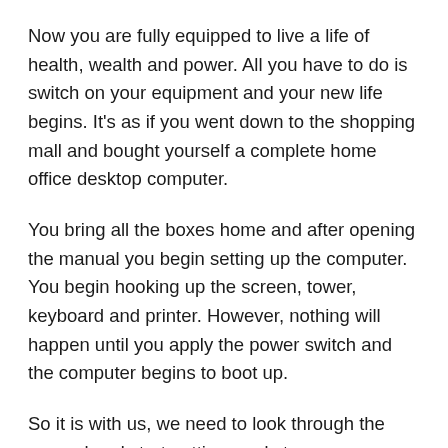Now you are fully equipped to live a life of health, wealth and power. All you have to do is switch on your equipment and your new life begins. It’s as if you went down to the shopping mall and bought yourself a complete home office desktop computer.
You bring all the boxes home and after opening the manual you begin setting up the computer. You begin hooking up the screen, tower, keyboard and printer. However, nothing will happen until you apply the power switch and the computer begins to boot up.
So it is with us, we need to look through the manual and start getting ready to use our new equipment.
In terms of a manual, you will never beat the power of directly speaking to God. In addition to this, we can use